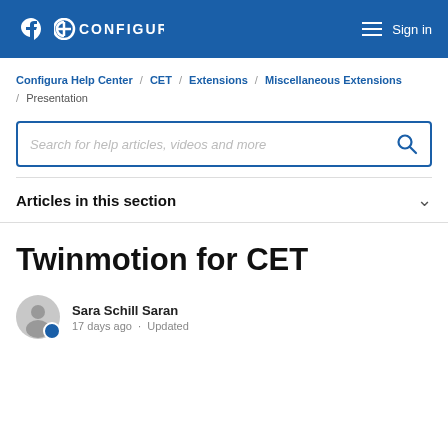CONFIGURA  Sign in
Configura Help Center / CET / Extensions / Miscellaneous Extensions / Presentation
Search for help articles, videos and more
Articles in this section
Twinmotion for CET
Sara Schill Saran
17 days ago · Updated